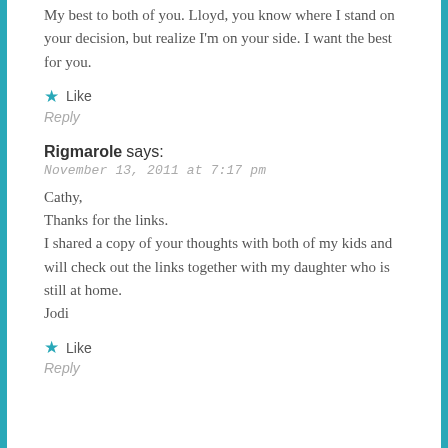My best to both of you. Lloyd, you know where I stand on your decision, but realize I'm on your side. I want the best for you.
★ Like
Reply
Rigmarole says:
November 13, 2011 at 7:17 pm
Cathy,
Thanks for the links.
I shared a copy of your thoughts with both of my kids and will check out the links together with my daughter who is still at home.
Jodi
★ Like
Reply